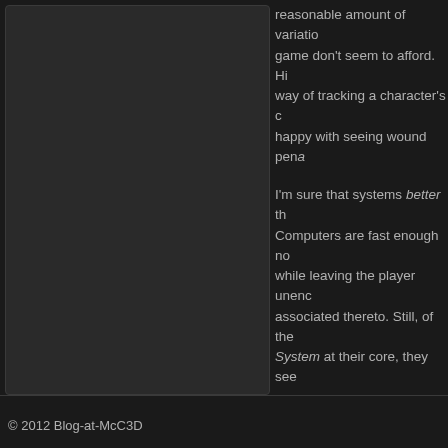reasonable amount of variation game don't seem to afford. Hit way of tracking a character's c happy with seeing wound pena
I'm sure that systems better th Computers are fast enough no while leaving the player unenc associated thereto. Still, of the System at their core, they see
© 2012 Blog-at-McC3D